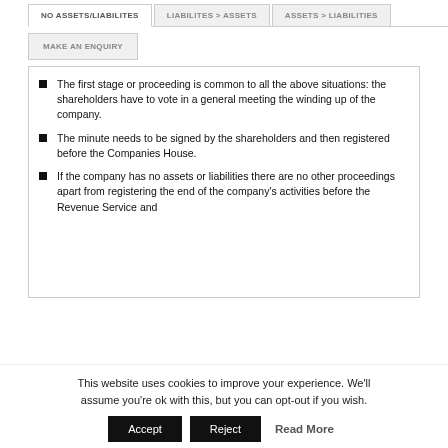The first stage or proceeding is common to all the above situations: the shareholders have to vote in a general meeting the winding up of the company.
The minute needs to be signed by the shareholders and then registered before the Companies House.
If the company has no assets or liabilities there are no other proceedings apart from registering the end of the company's activities before the Revenue Service and
This website uses cookies to improve your experience. We'll assume you're ok with this, but you can opt-out if you wish.